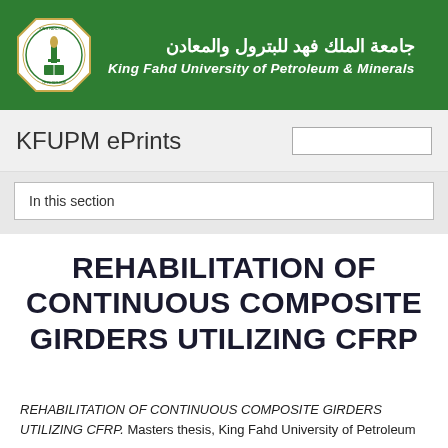[Figure (logo): King Fahd University of Petroleum & Minerals logo with Arabic and English text on green banner]
KFUPM ePrints
In this section
REHABILITATION OF CONTINUOUS COMPOSITE GIRDERS UTILIZING CFRP
REHABILITATION OF CONTINUOUS COMPOSITE GIRDERS UTILIZING CFRP. Masters thesis, King Fahd University of Petroleum